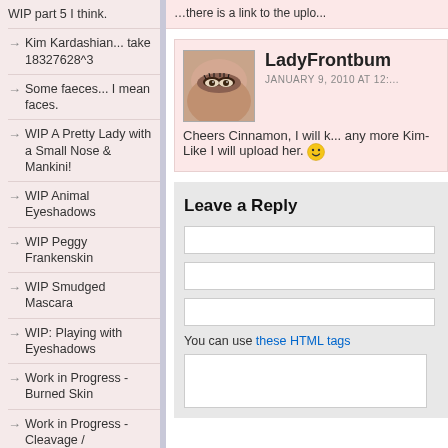WIP part 5 I think.
Kim Kardashian... take 18327628^3
Some faeces... I mean faces.
WIP A Pretty Lady with a Small Nose & Mankini!
WIP Animal Eyeshadows
WIP Peggy Frankenskin
WIP Smudged Mascara
WIP: Playing with Eyeshadows
Work in Progress - Burned Skin
Work in Progress - Cleavage / Bust Butt...
LadyFrontbum
JANUARY 9, 2010 AT 12:...
Cheers Cinnamon, I will k... any more Kim-Like I will upload her. 😊
Leave a Reply
You can use these HTML tags